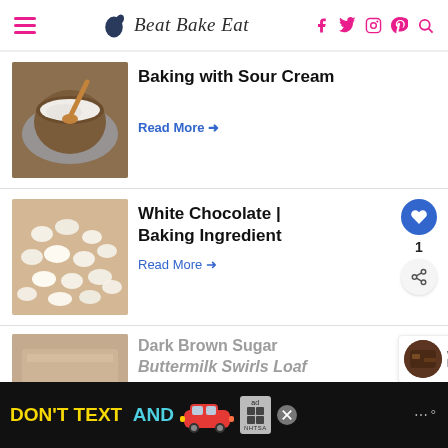Beat Bake Eat
Baking with Sour Cream
Read More →
White Chocolate | Baking Ingredient
Read More →
Dark Brown Sugar Buttermilk Swirls Loaf
[Figure (photo): Bowl of sour cream with wooden spoon on grey cloth]
[Figure (photo): White chocolate chips on wooden surface]
[Figure (photo): Dark brown sugar buttermilk swirl loaf partially visible]
[Figure (photo): WHAT'S NEXT: Fudgy Brown Sugar... thumbnail with dark brownie image]
[Figure (photo): Advertisement banner: DON'T TEXT AND [drive] - NHTSA ad with red car graphic]